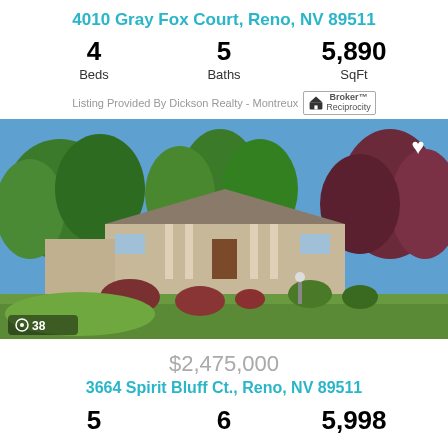4010 Gray Fox Court, Reno, NV 89511
4  Beds   5  Baths   5,890  SqFt
Listing Provided By Dickson Realty - Montreux  Broker Reciprocity
[Figure (photo): Exterior photo of a large single-story home with mature trees, landscaped front yard, circular driveway, and blue sky. Photo count badge shows 38.]
$2,475,000
3664 Spirit Bluff Ct., Reno, NV 89511
5  6  5,998